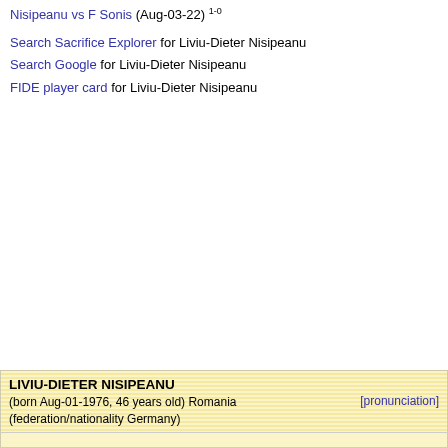Nisipeanu vs F Sonis (Aug-03-22) 1-0
Search Sacrifice Explorer for Liviu-Dieter Nisipeanu
Search Google for Liviu-Dieter Nisipeanu
FIDE player card for Liviu-Dieter Nisipeanu
| LIVIU-DIETER NISIPEANU |
| (born Aug-01-1976, 46 years old) Romania (federation/nationality Germany) | [pronunciation] |